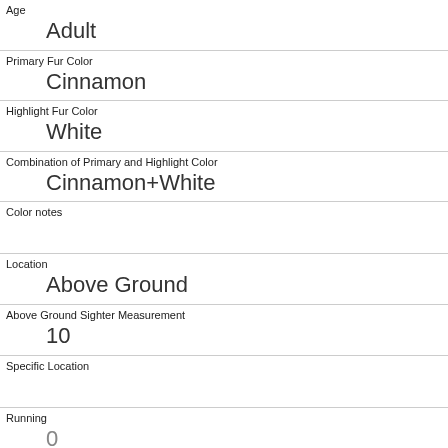| Age | Adult |
| Primary Fur Color | Cinnamon |
| Highlight Fur Color | White |
| Combination of Primary and Highlight Color | Cinnamon+White |
| Color notes |  |
| Location | Above Ground |
| Above Ground Sighter Measurement | 10 |
| Specific Location |  |
| Running | 0 |
| Chasing | 0 |
| Climbing |  |